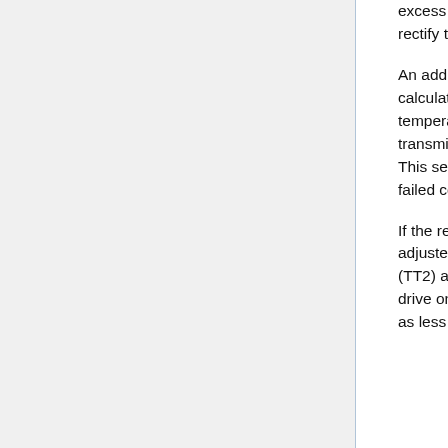excess pressure on the valve or the compressor. The alarm will notify personnel to rectify the situation.
An additional instrument is on the refrigerant leaving the condenser. Since the computer calculating the flow of the refrigerant is assuming the refrigerant is within certain temperature constraints, there is a temperature element (TE3), a temperature transmitter (TT3) and a temperature indicating controller (TIC3) in the refrigerant line. This sensor is equipped with both high and low alarms to indicate the operators of a failed compressor.
If the refrigerant is returning colder than expected, the work of the compressor can be adjusted. This is controlled by temperature element (TE2), a temperature transmitter (TT2) and a temperature indicating controller (TIC2) which adjusts a variable speed drive on the drive shaft of the compressor. A cold refrigerant recycle will slow the drive as less compression is